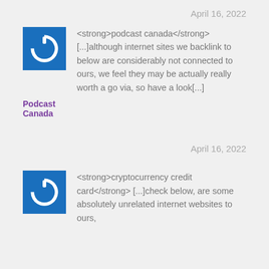April 16, 2022
[Figure (logo): Blue square icon with white power button symbol - Podcast Canada]
Podcast Canada
<strong>podcast canada</strong> [...]although internet sites we backlink to below are considerably not connected to ours, we feel they may be actually really worth a go via, so have a look[...]
April 16, 2022
[Figure (logo): Blue square icon with white power button symbol - Cryptocurrency]
<strong>cryptocurrency credit card</strong> [...]check below, are some absolutely unrelated internet websites to ours,